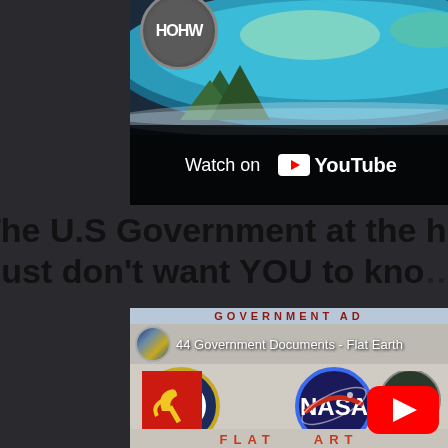[Figure (screenshot): Top video thumbnail showing flat earth disc over dark background with YouTube 'Watch on YouTube' overlay and HOHW channel logo]
The U.S Government at the highest levels k… just don’t want YOU to kno…
[Figure (screenshot): YouTube video thumbnail for '44 Government Documents - Flat Earth' showing CIA logo, NASA logo, YouTube play button, FLAT EARTH text bar, communist logo and 44 badge]